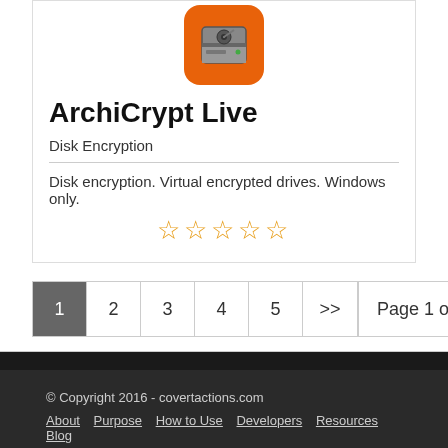[Figure (logo): ArchiCrypt Live app icon: orange rounded square with a hard disk drive image]
ArchiCrypt Live
Disk Encryption
Disk encryption. Virtual encrypted drives. Windows only.
[Figure (other): 5 empty star rating icons in orange/yellow]
1  2  3  4  5  >>   Page 1 of 55
© Copyright 2016 - covertactions.com
About  Purpose  How to Use  Developers  Resources  Blog
Privacy Policy